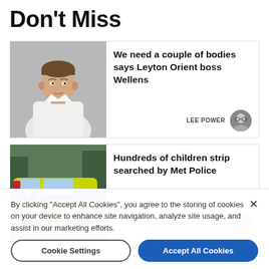Don't Miss
[Figure (photo): Man in white polo shirt, light grey background]
We need a couple of bodies says Leyton Orient boss Wellens
LEE POWER
[Figure (photo): Metropolitan Police car, yellow and blue markings, outdoors]
Hundreds of children strip searched by Met Police
ANDRÉ LANGLOIS
By clicking "Accept All Cookies", you agree to the storing of cookies on your device to enhance site navigation, analyze site usage, and assist in our marketing efforts.